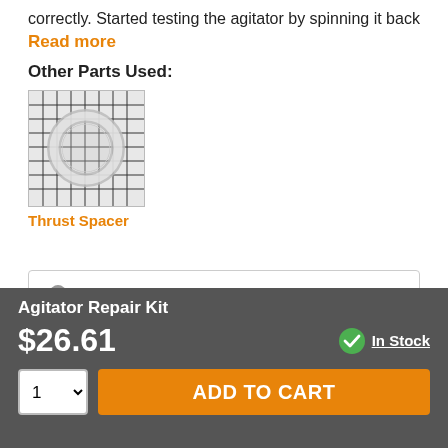correctly. Started testing the agitator by spinning it back
Read more
Other Parts Used:
[Figure (photo): Photo of a thrust spacer part on a grid background]
Thrust Spacer
clark from paris, TN
Difficulty Level:
Really Easy
Agitator Repair Kit
$26.61
In Stock
ADD TO CART